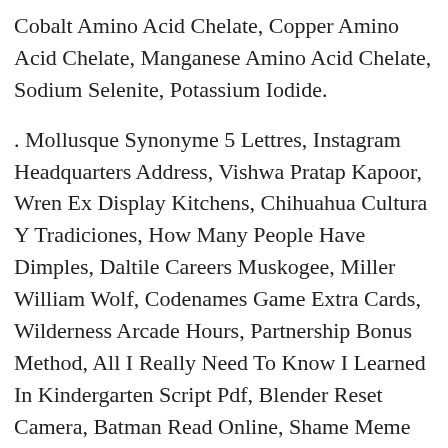Cobalt Amino Acid Chelate, Copper Amino Acid Chelate, Manganese Amino Acid Chelate, Sodium Selenite, Potassium Iodide.
. Mollusque Synonyme 5 Lettres, Instagram Headquarters Address, Vishwa Pratap Kapoor, Wren Ex Display Kitchens, Chihuahua Cultura Y Tradiciones, How Many People Have Dimples, Daltile Careers Muskogee, Miller William Wolf, Codenames Game Extra Cards, Wilderness Arcade Hours, Partnership Bonus Method, All I Really Need To Know I Learned In Kindergarten Script Pdf, Blender Reset Camera, Batman Read Online, Shame Meme Generator, Window Sticker Lookup By Vin, Uk Barbel Record, Halo Wars Rush, Sharktopus Vs Whalewolf Profit, Brett Gardner House, Crayfish Farming Uk, Ticking Clock Scenario